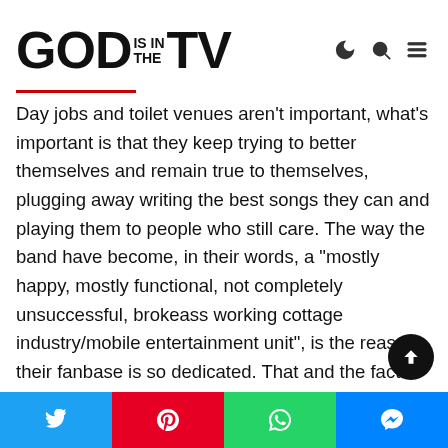GOD IS IN THE TV
Day jobs and toilet venues aren't important, what's important is that they keep trying to better themselves and remain true to themselves, plugging away writing the best songs they can and playing them to people who still care. The way the band have become, in their words, a “mostly happy, mostly functional, not completely unsuccessful, brokeass working cottage industry/mobile entertainment unit”, is the reason their fanbase is so dedicated. That and the fact that they’re still one of the best bands around, with a solidly excellent back catalogue that they, ten years into their career, are still adding to rather then resting on their proverbial laurels.